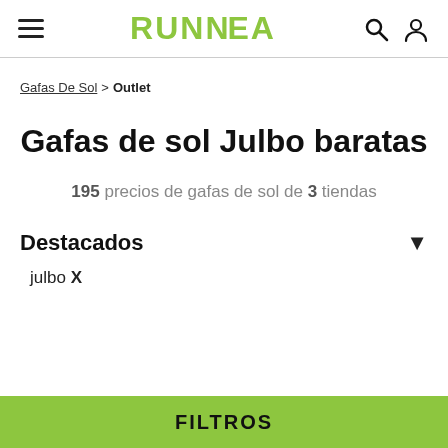RUNNEA
Gafas De Sol > Outlet
Gafas de sol Julbo baratas
195 precios de gafas de sol de 3 tiendas
Destacados
julbo X
FILTROS